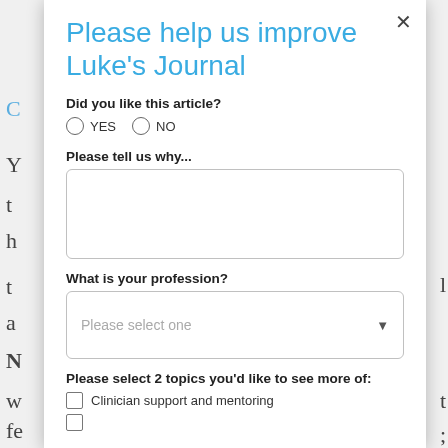Please help us improve Luke's Journal
Did you like this article?
YES  NO
Please tell us why...
What is your profession?
Please select 2 topics you'd like to see more of:
Clinician support and mentoring